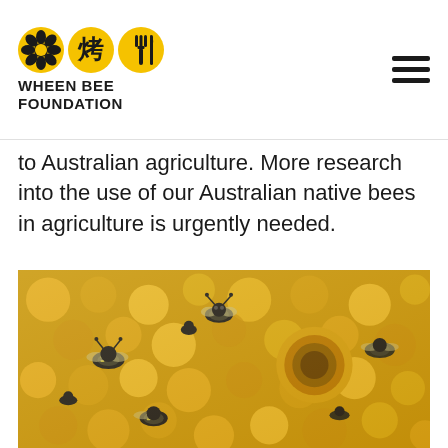Wheen Bee Foundation
to Australian agriculture. More research into the use of our Australian native bees in agriculture is urgently needed.
[Figure (photo): Close-up photograph of Australian native stingless bees on golden honeycomb, showing multiple small black and yellow bees crawling over round wax cells, with one prominent open circular cell in the foreground.]